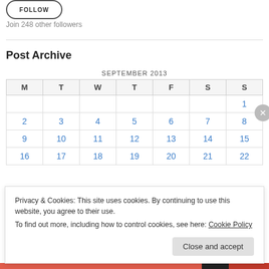[Figure (other): Follow button (rounded rectangle outline)]
Join 248 other followers
| M | T | W | T | F | S | S |
| --- | --- | --- | --- | --- | --- | --- |
|  |  |  |  |  |  | 1 |
| 2 | 3 | 4 | 5 | 6 | 7 | 8 |
| 9 | 10 | 11 | 12 | 13 | 14 | 15 |
| 16 | 17 | 18 | 19 | 20 | 21 | 22 |
Privacy & Cookies: This site uses cookies. By continuing to use this website, you agree to their use.
To find out more, including how to control cookies, see here: Cookie Policy
Close and accept